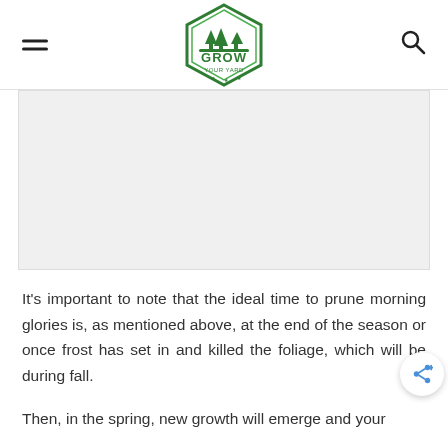GROW YOUR YARD
[Figure (photo): Image placeholder area (light gray rectangle representing a photo)]
It's important to note that the ideal time to prune morning glories is, as mentioned above, at the end of the season or once frost has set in and killed the foliage, which will be during fall.
Then, in the spring, new growth will emerge and your